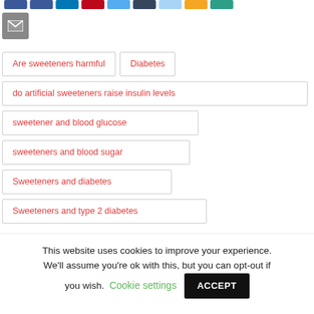[Figure (other): Row of social media sharing icon buttons (colored rectangles) at the top of the page]
[Figure (other): Email/envelope icon button (grey square with envelope symbol)]
Are sweeteners harmful
Diabetes
do artificial sweeteners raise insulin levels
sweetener and blood glucose
sweeteners and blood sugar
Sweeteners and diabetes
Sweeteners and type 2 diabetes
This website uses cookies to improve your experience. We'll assume you're ok with this, but you can opt-out if you wish. Cookie settings ACCEPT